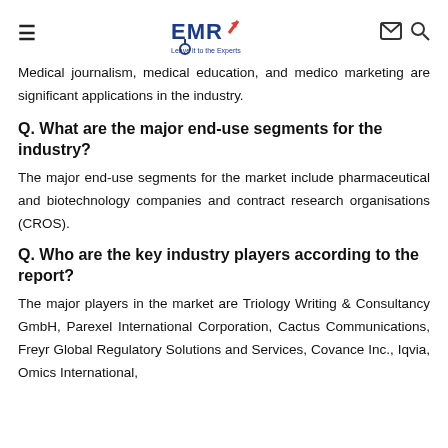EMR - Leave it to the Experts
Medical journalism, medical education, and medico marketing are significant applications in the industry.
Q. What are the major end-use segments for the industry?
The major end-use segments for the market include pharmaceutical and biotechnology companies and contract research organisations (CROS).
Q. Who are the key industry players according to the report?
The major players in the market are Triology Writing & Consultancy GmbH, Parexel International Corporation, Cactus Communications, Freyr Global Regulatory Solutions and Services, Covance Inc., Iqvia, Omics International,